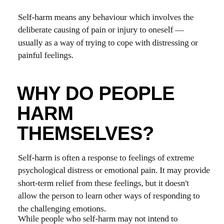Self-harm means any behaviour which involves the deliberate causing of pain or injury to oneself — usually as a way of trying to cope with distressing or painful feelings.
WHY DO PEOPLE HARM THEMSELVES?
Self-harm is often a response to feelings of extreme psychological distress or emotional pain. It may provide short-term relief from these feelings, but it doesn't allow the person to learn other ways of responding to the challenging emotions.
While people who self-harm may not intend to